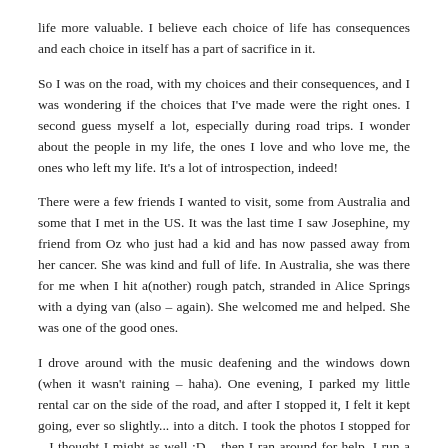life more valuable. I believe each choice of life has consequences and each choice in itself has a part of sacrifice in it.
So I was on the road, with my choices and their consequences, and I was wondering if the choices that I've made were the right ones. I second guess myself a lot, especially during road trips. I wonder about the people in my life, the ones I love and who love me, the ones who left my life. It's a lot of introspection, indeed!
There were a few friends I wanted to visit, some from Australia and some that I met in the US. It was the last time I saw Josephine, my friend from Oz who just had a kid and has now passed away from her cancer. She was kind and full of life. In Australia, she was there for me when I hit a(nother) rough patch, stranded in Alice Springs with a dying van (also – again). She welcomed me and helped. She was one of the good ones.
I drove around with the music deafening and the windows down (when it wasn't raining – haha). One evening, I parked my little rental car on the side of the road, and after I stopped it, I felt it kept going, ever so slightly... into a ditch. I took the photos I stopped for – I thought I might as well :D – then I ran around for help. I run a while before finding a car packed with four Irish guys. I went to them and asked if they could save